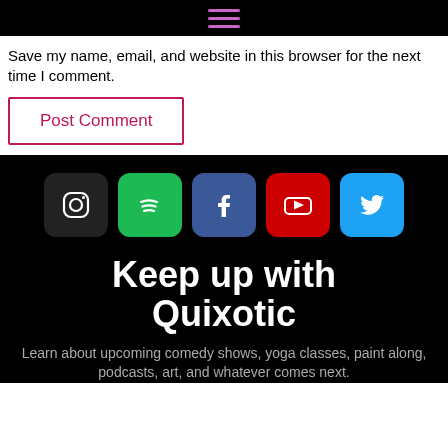[Figure (screenshot): Hamburger menu icon with three purple horizontal lines on black background]
Save my name, email, and website in this browser for the next time I comment.
Post Comment
[Figure (infographic): Five social media icons: Instagram (dark), Spotify (green), Facebook (blue), YouTube (red), Twitter (light blue)]
Keep up with Quixotic
Learn about upcoming comedy shows, yoga classes, paint along, podcasts, art, and whatever comes next.